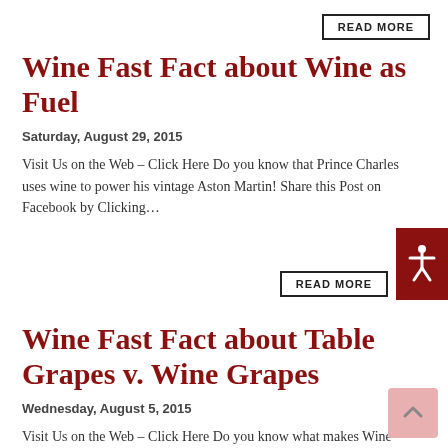READ MORE
Wine Fast Fact about Wine as Fuel
Saturday, August 29, 2015
Visit Us on the Web – Click Here Do you know that Prince Charles uses wine to power his vintage Aston Martin! Share this Post on Facebook by Clicking…
READ MORE
Wine Fast Fact about Table Grapes v. Wine Grapes
Wednesday, August 5, 2015
Visit Us on the Web – Click Here Do you know what makes Wine Grapes different from Table Grapes? Wine Grapes are